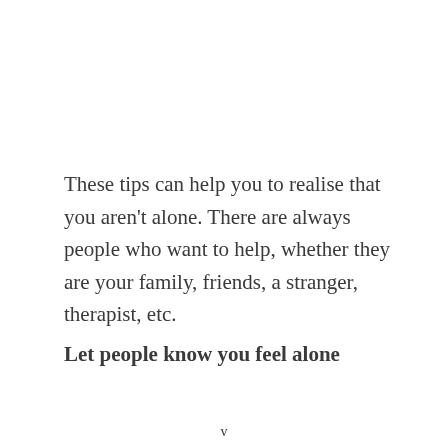These tips can help you to realise that you aren't alone. There are always people who want to help, whether they are your family, friends, a stranger, therapist, etc.
Let people know you feel alone
v